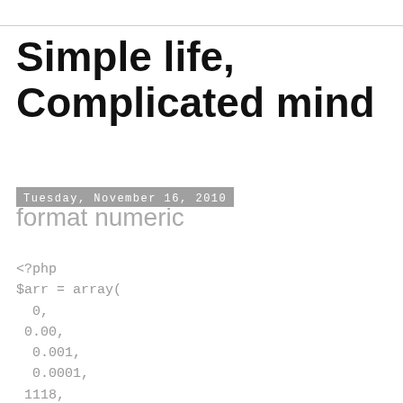Simple life, Complicated mind
Tuesday, November 16, 2010
format numeric
<?php
$arr = array(
  0,
 0.00,
  0.001,
  0.0001,
 1118,
 1118.0,
 1118.00,
 1118.000,
 1118.001,
  1118.0001,
 1118.3,
 1118.30,